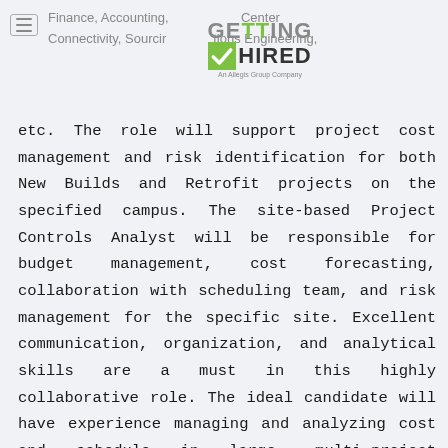Finance, Accounting, [GETTING HIRED logo] Center Connectivity, Sourcing [logo] tions Engineering,
etc. The role will support project cost management and risk identification for both New Builds and Retrofit projects on the specified campus. The site-based Project Controls Analyst will be responsible for budget management, cost forecasting, collaboration with scheduling team, and risk management for the specific site. Excellent communication, organization, and analytical skills are a must in this highly collaborative role. The ideal candidate will have experience managing and analyzing cost and schedule in large, multi-project construction programs. The Project Controls Analyst will work closely with site Project Management to report project health and influence the way the Site Teams understand and mitigate